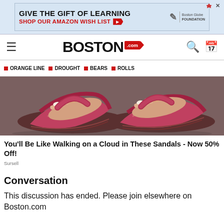[Figure (other): Advertisement banner: GIVE THE GIFT OF LEARNING / SHOP OUR AMAZON WISH LIST with Boston Globe Foundation logo]
BOSTON.com
ORANGE LINE
DROUGHT
BEARS
ROLLS
[Figure (photo): Close-up photo of feet wearing red sandals with platform soles]
You'll Be Like Walking on a Cloud in These Sandals - Now 50% Off!
Sursell
Conversation
This discussion has ended. Please join elsewhere on Boston.com